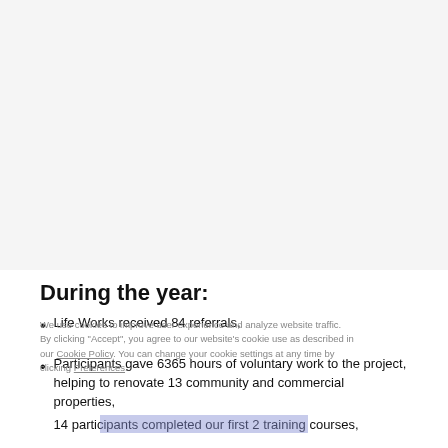During the year:
Life Works received 84 referrals,
Participants gave 6365 hours of voluntary work to the project, helping to renovate 13 community and commercial properties,
14 participants completed our first 2 training courses,
26 participants participated in off-site work experience placements and 2 people were offered sessional work